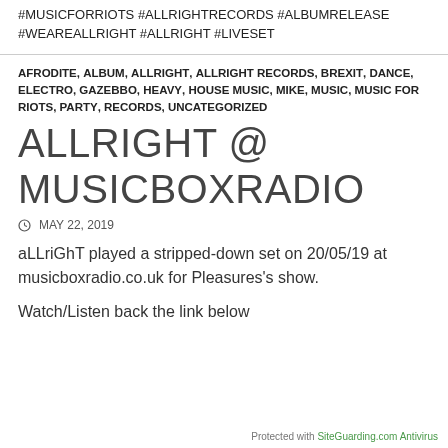#MUSICFORRIOTS #ALLRIGHTRECORDS #ALBUMRELEASE #WEAREALLRIGHT #ALLRIGHT #LIVESET
AFRODITE, ALBUM, ALLRIGHT, ALLRIGHT RECORDS, BREXIT, DANCE, ELECTRO, GAZEBBO, HEAVY, HOUSE MUSIC, MIKE, MUSIC, MUSIC FOR RIOTS, PARTY, RECORDS, UNCATEGORIZED
ALLRIGHT @ MUSICBOXRADIO
MAY 22, 2019
aLLriGhT played a stripped-down set on 20/05/19 at musicboxradio.co.uk for Pleasures's show.
Watch/Listen back the link below
Protected with SiteGuarding.com Antivirus